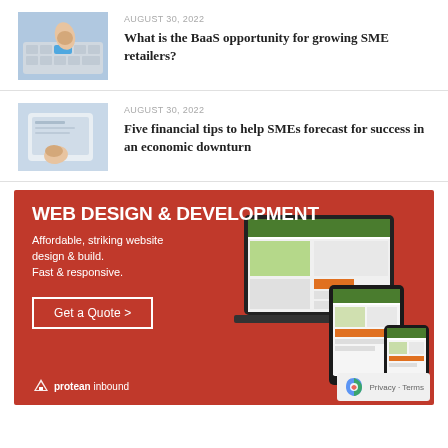[Figure (photo): Thumbnail of hand pressing a key on keyboard]
AUGUST 30, 2022
What is the BaaS opportunity for growing SME retailers?
[Figure (photo): Thumbnail of hand touching a tablet or digital surface]
AUGUST 30, 2022
Five financial tips to help SMEs forecast for success in an economic downturn
[Figure (infographic): Red advertisement banner for Protean Inbound Web Design & Development service, with text: WEB DESIGN & DEVELOPMENT, Affordable striking website design & build. Fast & responsive. Get a Quote >. Shows laptop, tablet and phone with sample website. Protean inbound logo at bottom left.]